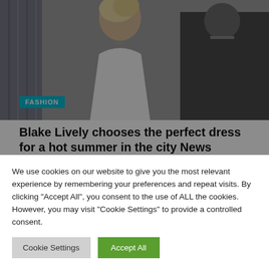[Figure (photo): Hero image showing people at a fashion event, partially visible figures in foreground]
FASHION
Blake Lively chooses the perfect dress for a hot summer in the city News
JUNE 16, 2022
[Figure (other): Advertisement placeholder gray box]
We use cookies on our website to give you the most relevant experience by remembering your preferences and repeat visits. By clicking “Accept All”, you consent to the use of ALL the cookies. However, you may visit "Cookie Settings" to provide a controlled consent.
Cookie Settings
Accept All